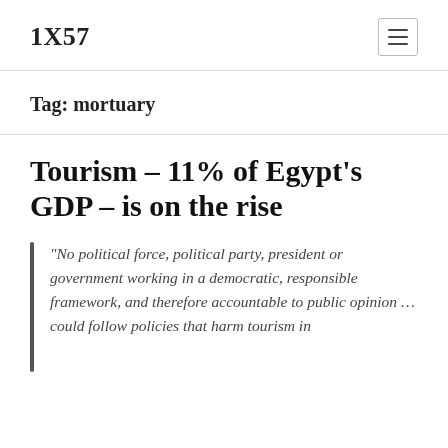1X57
Tag: mortuary
Tourism – 11% of Egypt's GDP – is on the rise
“No political force, political party, president or government working in a democratic, responsible framework, and therefore accountable to public opinion … could follow policies that harm tourism in